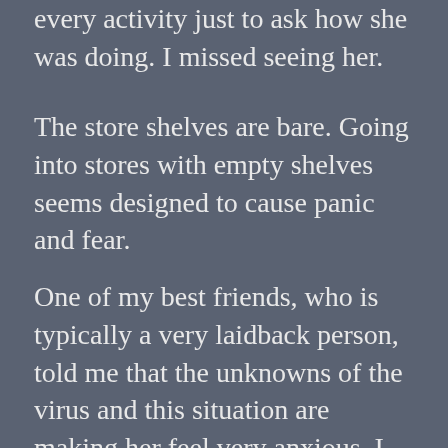every activity just to ask how she was doing. I missed seeing her.
The store shelves are bare. Going into stores with empty shelves seems designed to cause panic and fear.
One of my best friends, who is typically a very laidback person, told me that the unknowns of the virus and this situation are making her feel very anxious. I told her my divorce and dealing with a narcissistic ex must have made me immune to such anxiety. In the past year, I sadly have had to release so much control over my children's safety